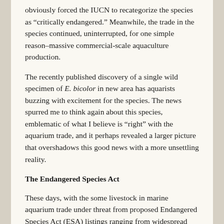obviously forced the IUCN to recategorize the species as “critically endangered.” Meanwhile, the trade in the species continued, uninterrupted, for one simple reason–massive commercial-scale aquaculture production.
The recently published discovery of a single wild specimen of E. bicolor in new area has aquarists buzzing with excitement for the species. The news spurred me to think again about this species, emblematic of what I believe is “right” with the aquarium trade, and it perhaps revealed a larger picture that overshadows this good news with a more unsettling reality.
The Endangered Species Act
These days, with the some livestock in marine aquarium trade under threat from proposed Endangered Species Act (ESA) listings ranging from widespread coral proposals to bread-and-butter fish